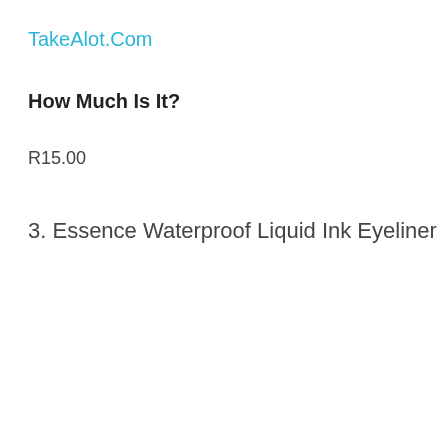TakeAlot.Com
How Much Is It?
R15.00
3. Essence Waterproof Liquid Ink Eyeliner